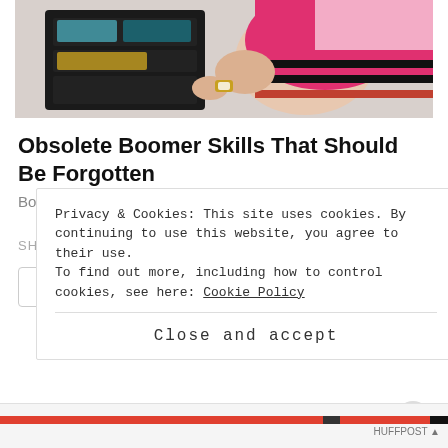[Figure (photo): A person packing or organizing a black travel bag/toiletry organizer, wearing a pink and black top with a watch.]
Obsolete Boomer Skills That Should Be Forgotten
Bon Voyaged
SHARE THIS:
Twitter
Facebook
Privacy & Cookies: This site uses cookies. By continuing to use this website, you agree to their use.
To find out more, including how to control cookies, see here: Cookie Policy
Close and accept